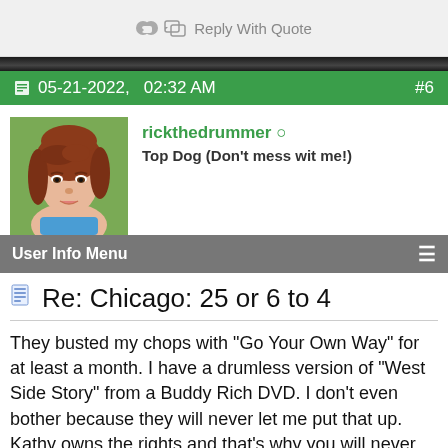Reply With Quote
05-21-2022,   02:32 AM  #6
rickthedrummer ○
Top Dog (Don't mess wit me!)
User Info Menu
Re: Chicago: 25 or 6 to 4
They busted my chops with "Go Your Own Way" for at least a month. I have a drumless version of "West Side Story" from a Buddy Rich DVD. I don't even bother because they will never let me put that up. Kathy owns the rights and that's why you will never see a song from his book on YouTube.